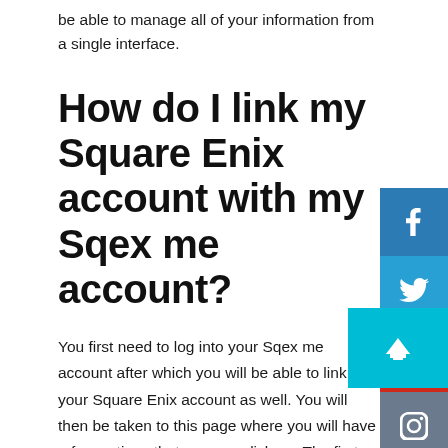be able to manage all of your information from a single interface.
How do I link my Square Enix account with my Sqex me account?
You first need to log into your Sqex me account after which you will be able to link your Square Enix account as well. You will then be taken to this page where you will have a few options that you can click on. The first one is the “Link Square Enix” option, which will link your accounts for both Kingdom Hearts III (Mobile) and Kingdom Hearts III (Playstation 4) with the necessary security required. You will also see a button in the lower left